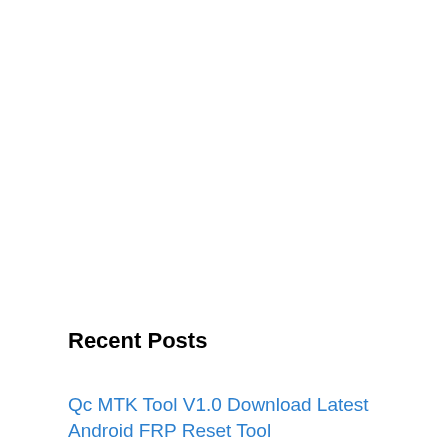Recent Posts
Qc MTK Tool V1.0 Download Latest Android FRP Reset Tool